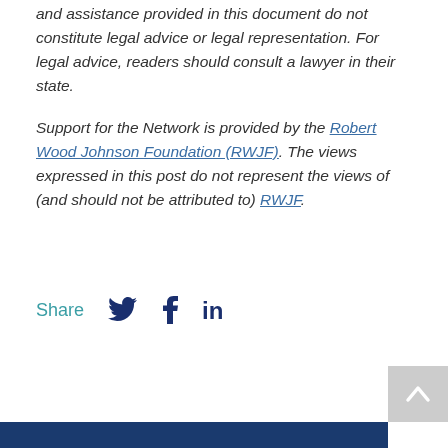and assistance provided in this document do not constitute legal advice or legal representation. For legal advice, readers should consult a lawyer in their state.
Support for the Network is provided by the Robert Wood Wood Johnson Foundation (RWJF). The views expressed in this post do not represent the views of (and should not be attributed to) RWJF.
Share
[Figure (other): Social media share icons: Twitter bird, Facebook f, LinkedIn in]